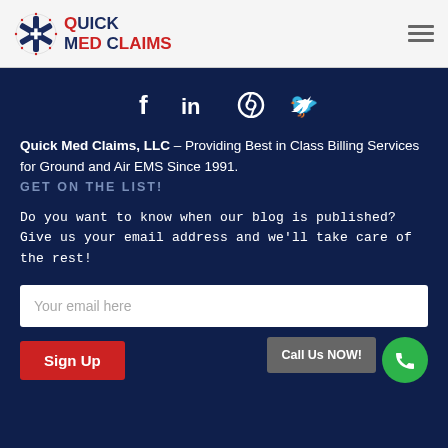[Figure (logo): Quick Med Claims logo with star of life and text]
[Figure (infographic): Social media icons: Facebook, LinkedIn, Pinterest, Twitter]
Quick Med Claims, LLC - Providing Best in Class Billing Services for Ground and Air EMS Since 1991.
GET ON THE LIST!
Do you want to know when our blog is published? Give us your email address and we'll take care of the rest!